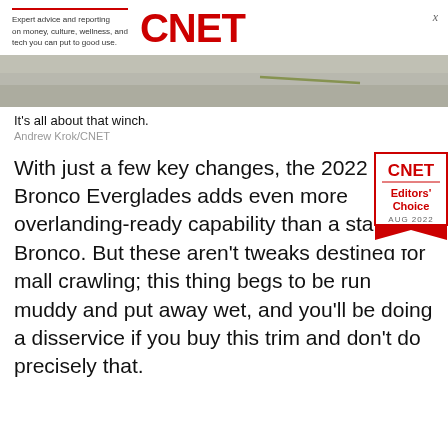Expert advice and reporting on money, culture, wellness, and tech you can put to good use. CNET
[Figure (photo): Close-up photo of a rough concrete or asphalt surface, gray textured ground, with a faint green line or mark visible.]
It's all about that winch.
Andrew Krok/CNET
With just a few key changes, the 2022 Ford Bronco Everglades adds even more overlanding-ready capability than a standard Bronco. But these aren't tweaks destined for mall crawling; this thing begs to be run muddy and put away wet, and you'll be doing a disservice if you buy this trim and don't do precisely that.
[Figure (logo): CNET Editors' Choice badge for AUG 2022, red border with ribbon at bottom, CNET in bold red, Editors' Choice in red text, AUG 2022 in gray.]